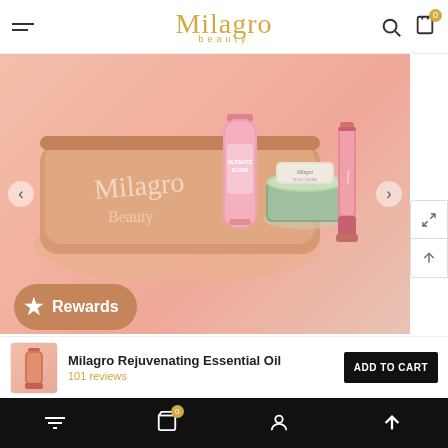Milagro Beauty
[Figure (photo): Milagro Beauty product combo - pink cosmetic bag with Ultimate Elixir bottle, face cream jar, and lip product on pink background]
Soul Sisters Combo
₹ 0,950.00 ₹ 1,500.00
Milagro Rejuvenating Essential Oil
101 reviews
Rewards
0  navigation icons